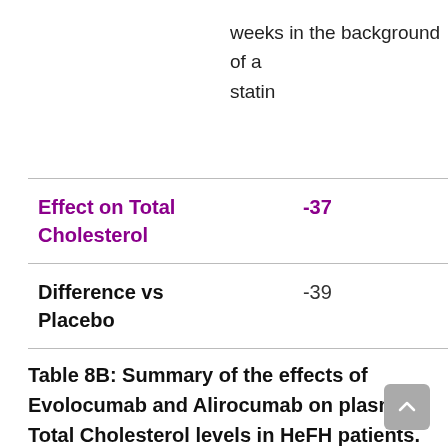weeks in the background of a statin
| Effect on Total Cholesterol | -37 |
| Difference vs Placebo | -39 |
Table 8B: Summary of the effects of Evolocumab and Alirocumab on plasma Total Cholesterol levels in HeFH patients.